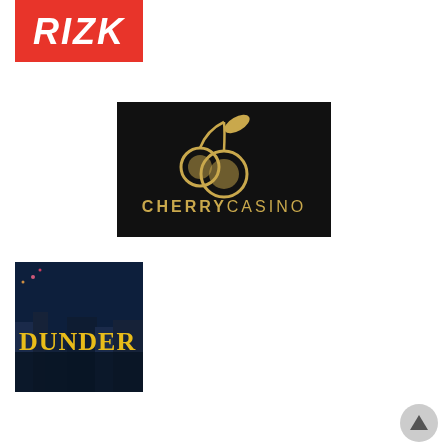[Figure (logo): Rizk casino logo — white bold italic RIZK text on red background]
[Figure (logo): Cherry Casino logo — gold cherry icon and CHERRY CASINO text on black background]
[Figure (logo): Dunder casino logo — yellow DUNDER text overlaid on nighttime Las Vegas cityscape with fireworks]